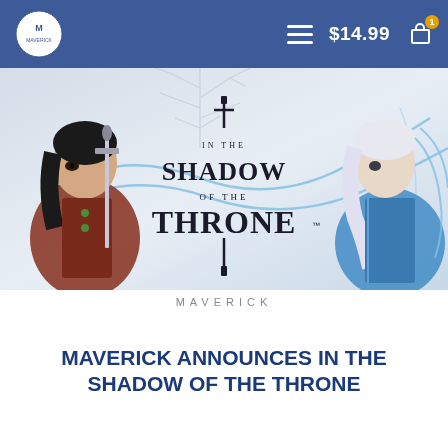Maverick | $14.99 | Cart (1)
[Figure (illustration): Hero banner for 'In the Shadow of the Throne' comic book. Shows two fantasy characters — a dark-haired girl with a sword on the left, and a white-haired figure in blue robes on the right — with the title 'IN THE SHADOW OF THE THRONE' displayed in the center over a pale background with bare tree branches and flowing blue energy tendrils.]
MAVERICK
MAVERICK ANNOUNCES IN THE SHADOW OF THE THRONE